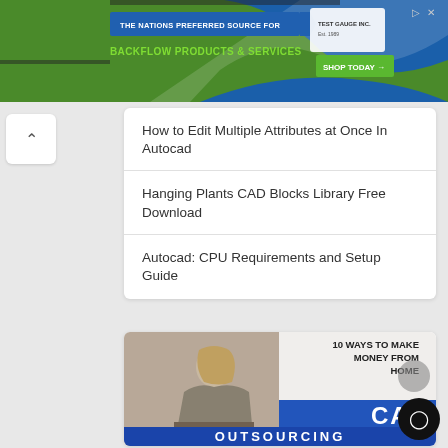[Figure (screenshot): Advertisement banner for Test Gauge Inc. - 'The Nations Preferred Source For Backflow Products & Services' with Shop Today button]
How to Edit Multiple Attributes at Once In Autocad
Hanging Plants CAD Blocks Library Free Download
Autocad: CPU Requirements and Setup Guide
[Figure (photo): Image showing woman sitting with text overlay '10 WAYS TO MAKE MONEY FROM HOME CAD OUTSOURCING']